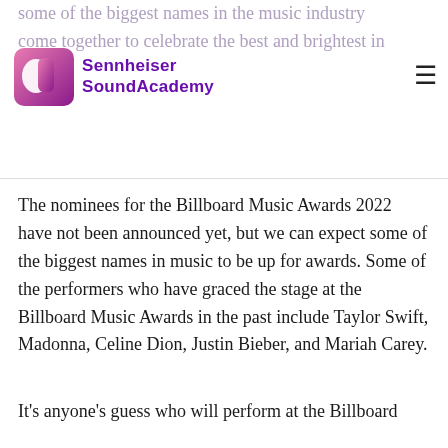some of the biggest names in the music industry come together to celebrate the best and brightest in music
[Figure (logo): Sennheiser SoundAcademy logo with pink-to-purple gradient music note icon and purple text]
The nominees for the Billboard Music Awards 2022 have not been announced yet, but we can expect some of the biggest names in music to be up for awards. Some of the performers who have graced the stage at the Billboard Music Awards in the past include Taylor Swift, Madonna, Celine Dion, Justin Bieber, and Mariah Carey.
It's anyone's guess who will perform at the Billboard